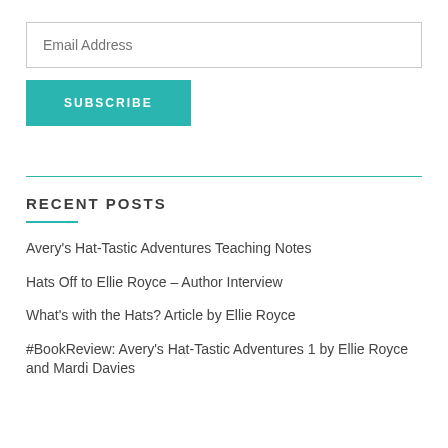Email Address
SUBSCRIBE
RECENT POSTS
Avery's Hat-Tastic Adventures Teaching Notes
Hats Off to Ellie Royce – Author Interview
What's with the Hats? Article by Ellie Royce
#BookReview: Avery's Hat-Tastic Adventures 1 by Ellie Royce and Mardi Davies